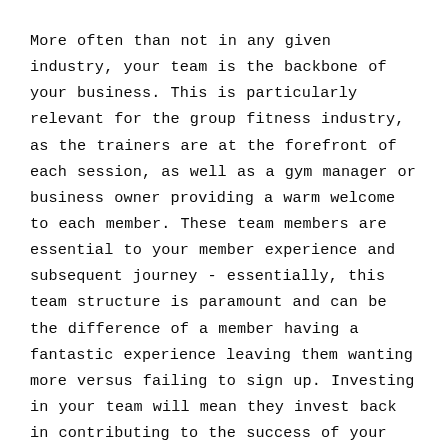More often than not in any given industry, your team is the backbone of your business. This is particularly relevant for the group fitness industry, as the trainers are at the forefront of each session, as well as a gym manager or business owner providing a warm welcome to each member. These team members are essential to your member experience and subsequent journey - essentially, this team structure is paramount and can be the difference of a member having a fantastic experience leaving them wanting more versus failing to sign up. Investing in your team will mean they invest back in contributing to the success of your business.
Fitstop provides a business model that not only members love, but trainers want to be a part of to showcase their high calibre of fitness knowledge and trainer skill - with the support of expert HR resources and recruitment tools derived from Fitstop HQ, you're